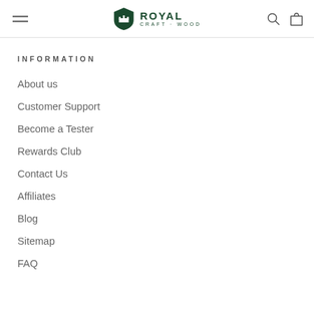Royal Craft Wood — navigation header with hamburger menu, logo, search and cart icons
INFORMATION
About us
Customer Support
Become a Tester
Rewards Club
Contact Us
Affiliates
Blog
Sitemap
FAQ